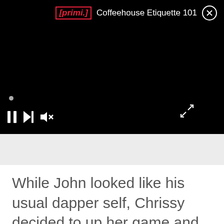[Figure (screenshot): Video player screenshot showing [primi.] logo and title 'Coffeehouse Etiquette 101' in the top bar with a close button, a progress dot, playback controls (pause, skip, mute), and a fullscreen expand icon, on a black background]
While John looked like his usual dapper self, Chrissy decided to up her game and wear a stunning Marchesa gown that resembled snowfall. The sheer dress was heavily detailed with lace and